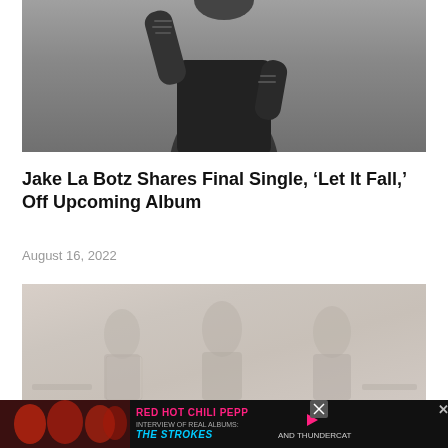[Figure (photo): Black and white photo of a tattooed person in a dark t-shirt, shown from mid-torso up, raising one arm]
Jake La Botz Shares Final Single, ‘Let It Fall,’ Off Upcoming Album
August 16, 2022
[Figure (photo): Faded color photo of a group of musicians/performers]
[Figure (photo): Advertisement banner: Red Hot Chili Peppers with The Strokes and Thundercat]